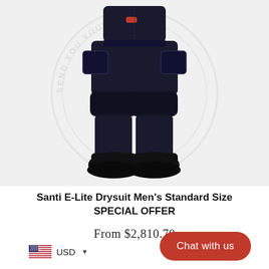[Figure (photo): Person wearing a Santi E-Lite black drysuit (from waist down, showing legs, boots, and cargo pockets), with a circular watermark logo in the background on a light grey backdrop.]
Santi E-Lite Drysuit Men's Standard Size SPECIAL OFFER
From $2,810.70
USD
Chat with us